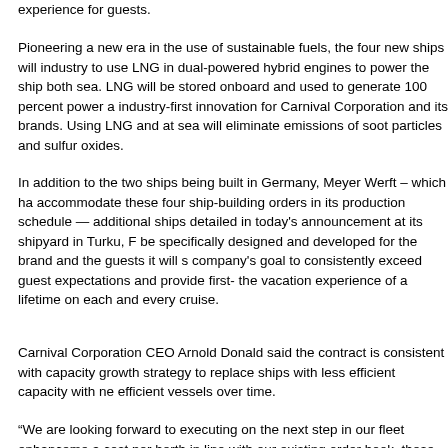experience for guests.
Pioneering a new era in the use of sustainable fuels, the four new ships will industry to use LNG in dual-powered hybrid engines to power the ship both sea. LNG will be stored onboard and used to generate 100 percent power a industry-first innovation for Carnival Corporation and its brands. Using LNG and at sea will eliminate emissions of soot particles and sulfur oxides.
In addition to the two ships being built in Germany, Meyer Werft – which ha accommodate these four ship-building orders in its production schedule — additional ships detailed in today's announcement at its shipyard in Turku, F be specifically designed and developed for the brand and the guests it will s company's goal to consistently exceed guest expectations and provide first- the vacation experience of a lifetime on each and every cruise.
Carnival Corporation CEO Arnold Donald said the contract is consistent with capacity growth strategy to replace ships with less efficient capacity with ne efficient vessels over time.
“We are looking forward to executing on the next step in our fleet enhanceme a cost per berth in line with our existing order book, these new ships will en our fleet. These are exceptionally efficient ships with incredible cabins and p design inspired by Micky Arison and Michael Thamm and developed by ou chairman of the board of directors for Carnival Corporation & plc and Tham Group, which includes AIDA Cruises and Costa Cruises. Added Donalds: